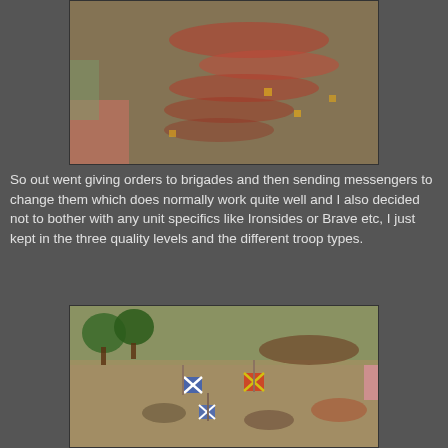[Figure (photo): Aerial view of a tabletop wargame battlefield with miniature soldiers arranged in formation on a sandy terrain mat, many red/orange colored miniatures visible]
So out went giving orders to brigades and then sending messengers to change them which does normally work quite well and I also decided not to bother with any unit specifics like Ironsides or Brave etc, I just kept in the three quality levels and the different troop types.
[Figure (photo): Close-up photo of a tabletop wargame showing miniature soldiers with banner flags (blue St Andrew's cross and red/yellow cross flags) on a sandy terrain board with model trees in the background]